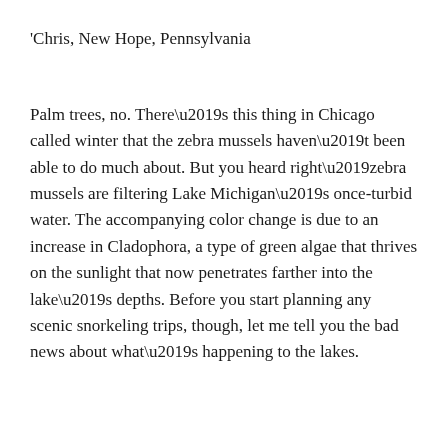'Chris, New Hope, Pennsylvania
Palm trees, no. There’s this thing in Chicago called winter that the zebra mussels haven’t been able to do much about. But you heard right’zebra mussels are filtering Lake Michigan’s once-turbid water. The accompanying color change is due to an increase in Cladophora, a type of green algae that thrives on the sunlight that now penetrates farther into the lake’s depths. Before you start planning any scenic snorkeling trips, though, let me tell you the bad news about what’s happening to the lakes.